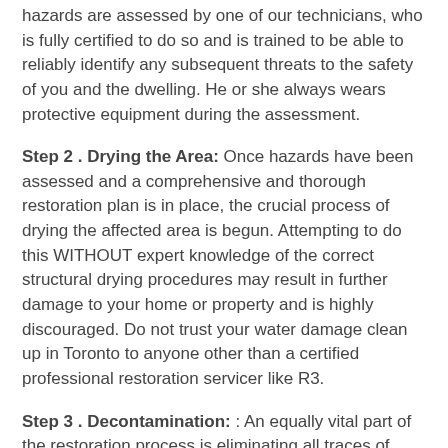hazards are assessed by one of our technicians, who is fully certified to do so and is trained to be able to reliably identify any subsequent threats to the safety of you and the dwelling. He or she always wears protective equipment during the assessment.
Step 2 . Drying the Area: Once hazards have been assessed and a comprehensive and thorough restoration plan is in place, the crucial process of drying the affected area is begun. Attempting to do this WITHOUT expert knowledge of the correct structural drying procedures may result in further damage to your home or property and is highly discouraged. Do not trust your water damage clean up in Toronto to anyone other than a certified professional restoration servicer like R3.
Step 3 . Decontamination: : An equally vital part of the restoration process is eliminating all traces of flood water, raw sewage, chemicals, mold and any other contaminants that parts of your home or property have been subject to. R3 provides water damage clean up to Toronto with their own unique,